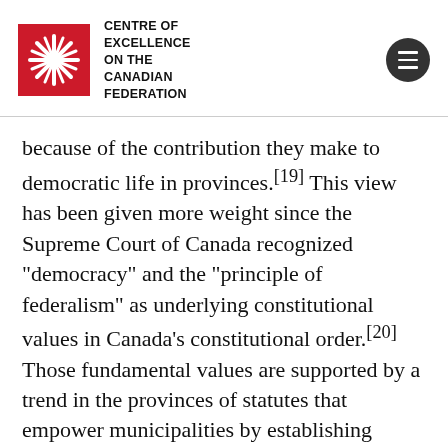CENTRE OF EXCELLENCE ON THE CANADIAN FEDERATION
because of the contribution they make to democratic life in provinces.[19] This view has been given more weight since the Supreme Court of Canada recognized “democracy” and the “principle of federalism” as underlying constitutional values in Canada’s constitutional order.[20] Those fundamental values are supported by a trend in the provinces of statutes that empower municipalities by establishing municipal systems and city charters, and a more expansive interpretation by the courts of the scope of municipal powers.